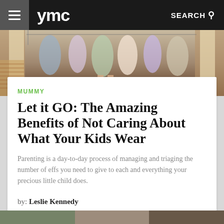ymc   SEARCH
[Figure (photo): Photo of children's clothing items hanging on a rack with bare feet visible below]
MUMMY
Let it GO: The Amazing Benefits of Not Caring About What Your Kids Wear
Parenting is a day-to-day process of managing and triaging the number of effs you need to give to each and everything your precious little child does.
by: Leslie Kennedy
[Figure (photo): Partial bottom image strip of another article]